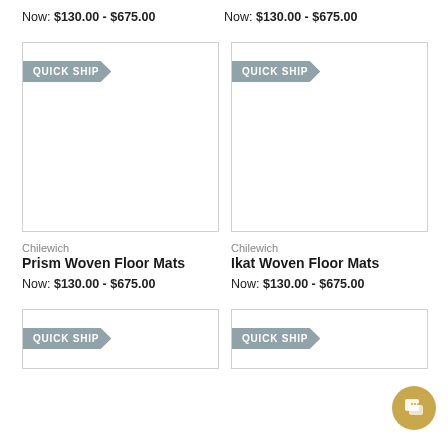Now: $130.00 - $675.00
Now: $130.00 - $675.00
[Figure (photo): Product image box with QUICK SHIP badge - Prism Woven Floor Mats]
[Figure (photo): Product image box with QUICK SHIP badge - Ikat Woven Floor Mats]
Chilewich
Prism Woven Floor Mats
Now: $130.00 - $675.00
Chilewich
Ikat Woven Floor Mats
Now: $130.00 - $675.00
[Figure (photo): Product image box with QUICK SHIP badge - bottom left]
[Figure (photo): Product image box with QUICK SHIP badge - bottom right]